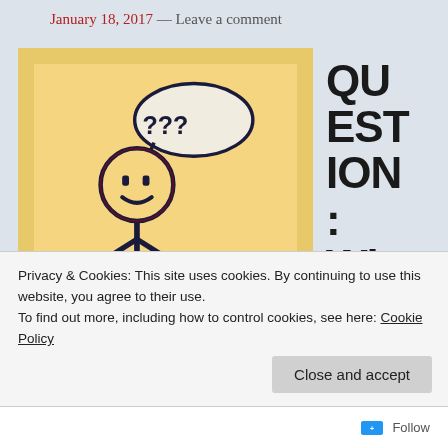January 18, 2017 — Leave a comment
[Figure (illustration): A stick figure drawing on a yellow background. The stick figure has a smiley face and a speech bubble containing '???'. To the right is large bold text reading 'QUESTION: Wh']
Privacy & Cookies: This site uses cookies. By continuing to use this website, you agree to their use.
To find out more, including how to control cookies, see here: Cookie Policy
Close and accept
Follow